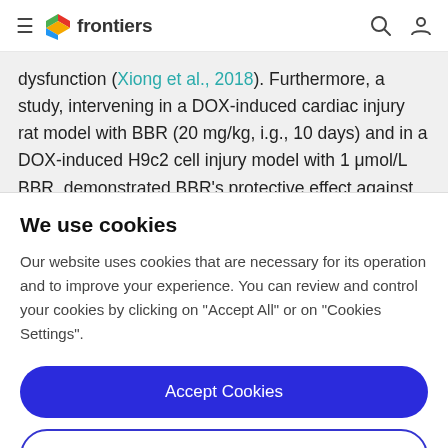frontiers
dysfunction (Xiong et al., 2018). Furthermore, a study, intervening in a DOX-induced cardiac injury rat model with BBR (20 mg/kg, i.g., 10 days) and in a DOX-induced H9c2 cell injury model with 1 μmol/L BBR, demonstrated BBR's protective effect against DOX-induced...
We use cookies
Our website uses cookies that are necessary for its operation and to improve your experience. You can review and control your cookies by clicking on "Accept All" or on "Cookies Settings".
Accept Cookies
Cookies Settings